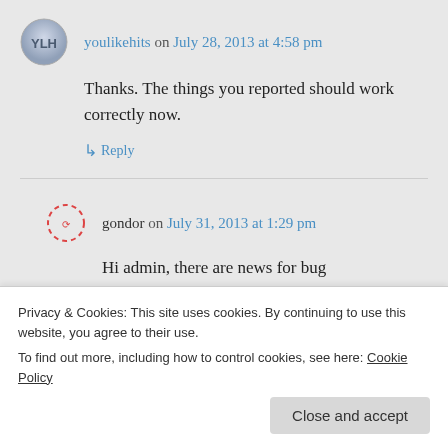youlikehits on July 28, 2013 at 4:58 pm
Thanks. The things you reported should work correctly now.
↳ Reply
gondor on July 31, 2013 at 1:29 pm
Hi admin, there are news for bug
Privacy & Cookies: This site uses cookies. By continuing to use this website, you agree to their use.
To find out more, including how to control cookies, see here: Cookie Policy
Close and accept